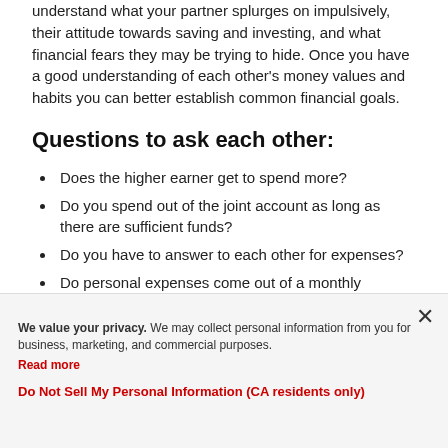understand what your partner splurges on impulsively, their attitude towards saving and investing, and what financial fears they may be trying to hide. Once you have a good understanding of each other's money values and habits you can better establish common financial goals.
Questions to ask each other:
Does the higher earner get to spend more?
Do you spend out of the joint account as long as there are sufficient funds?
Do you have to answer to each other for expenses?
Do personal expenses come out of a monthly allotment each one gets for these types of expenses?
Is there a specific dollar amount that requires a discussion with your significant other prior to a large
We value your privacy. We may collect personal information from you for business, marketing, and commercial purposes. Read more
Do Not Sell My Personal Information (CA residents only)